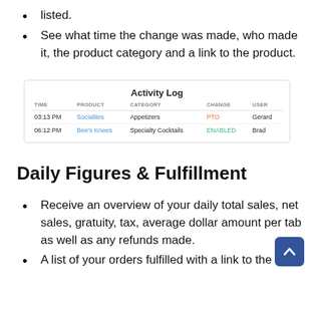listed.
See what time the change was made, who made it, the product category and a link to the product.
[Figure (screenshot): Activity Log table with columns TIME, PRODUCT, CATEGORY, CHANGE, USER. Two rows: 03:13 PM / Socialites / Appetizers / PTO (orange) / Gerard; 06:12 PM / Bee's Knees / Specialty Cocktails / ENABLED (green) / Brad.]
Daily Figures & Fulfillment
Receive an overview of your daily total sales, net sales, gratuity, tax, average dollar amount per tab as well as any refunds made.
A list of your orders fulfilled with a link to the